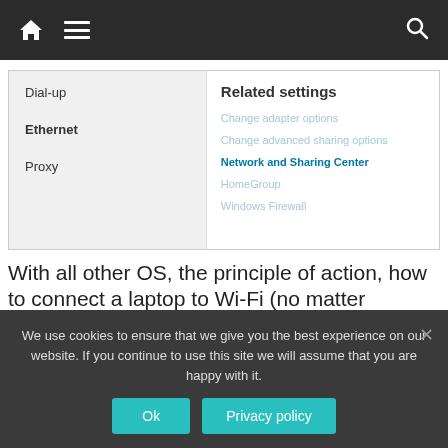Navigation bar with home, menu, and search icons
[Figure (screenshot): Windows Network Settings panel showing left menu items: Dial-up, Ethernet, Proxy; and right panel with Related settings: Change adapter options (inactive), Change advanced sharing options (inactive), Network and Sharing Center (active/blue), HomeGroup (inactive), Windows Firewall (inactive)]
With all other OS, the principle of action, how to connect a laptop to Wi-Fi (no matter Windows XP, 8
We use cookies to ensure that we give you the best experience on our website. If you continue to use this site we will assume that you are happy with it.
Ok
Privacy policy